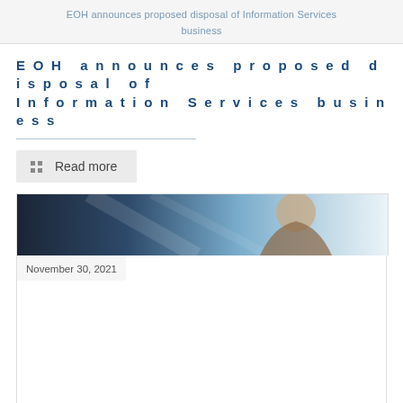EOH announces proposed disposal of Information Services business
EOH announces proposed disposal of Information Services business
Read more
[Figure (photo): Partial photo of a person in a business setting, partially visible at top of an article card]
November 30, 2021
The Credit Stress Report 2021 Q3 is out